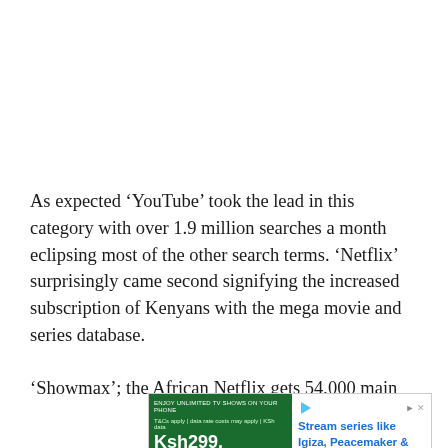As expected 'YouTube' took the lead in this category with over 1.9 million searches a month eclipsing most of the other search terms. 'Netflix' surprisingly came second signifying the increased subscription of Kenyans with the mega movie and series database.
'Showmax'; the African Netflix gets 54,000 main
[Figure (other): Advertisement banner for Showmax and Safaricom. Left side has dark green background with text 'ENJOY UNLIMITED TV SHOWS ON YOUR PHONE', price 'Ksh299.', movie poster images including IBIZA, and logos for Showmax and Safaricom. Right side on white background reads 'Stream series like Igiza, Peacemaker & more non-stop with Showmax and Safaricom' in blue bold text with a play icon and close button.]
Ad